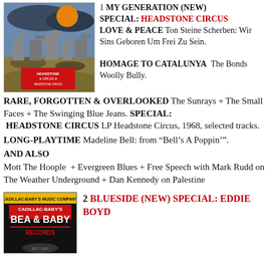[Figure (illustration): Album cover for Headstone Circus showing gravestones and a dark sky with orange moon, art style illustration]
1 MY GENERATION (NEW) SPECIAL: HEADSTONE CIRCUS LOVE & PEACE Ton Steine Scherben: Wir Sins Geboren Um Frei Zu Sein. HOMAGE TO CATALUNYA The Bonds Woolly Bully.
RARE, FORGOTTEN & OVERLOOKED The Sunrays + The Small Faces + The Swinging Blue Jeans. SPECIAL: HEADSTONE CIRCUS LP Headstone Circus, 1968, selected tracks.
LONG-PLAYTIME Madeline Bell: from “Bell’s A Poppin’”.
AND ALSO
Mott The Hoople + Evergreen Blues + Free Speech with Mark Rudd on The Weather Underground + Dan Kennedy on Palestine
[Figure (illustration): Album cover for Cadillac-Baby's Bea & Baby Records, dark background with text]
2 BLUESIDE (NEW) SPECIAL: EDDIE BOYD